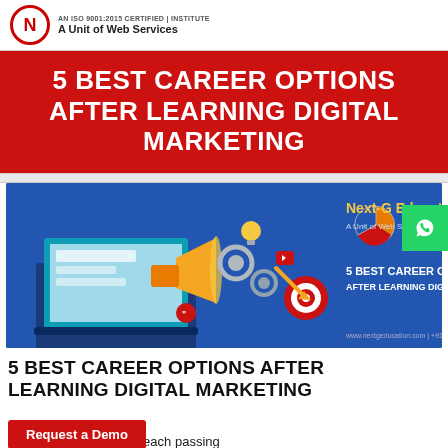AN ISO 9001:2015 CERTIFIED | INSTITUTE A Unit of Web Services
5 BEST CAREER OPTIONS AFTER LEARNING DIGITAL MARKETING
[Figure (infographic): Next-G Education promotional banner with digital marketing icons (laptop, megaphone, gears, target, pie chart), text: Next-G Education A Unit of Web Services, 5 BEST CAREER OPTIONS AFTER LEARNING DIGITAL MARKETING, www.nextgeducation.com | +91 7683072463]
5 BEST CAREER OPTIONS AFTER LEARNING DIGITAL MARKETING
extremely popular by each passing